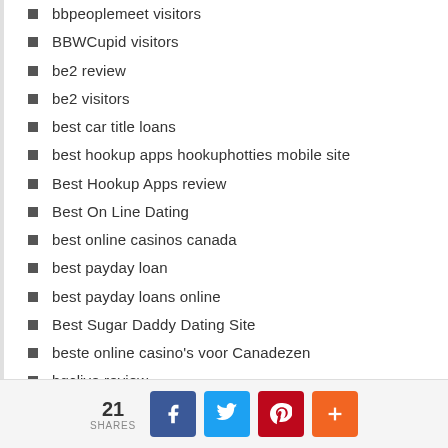bbpeoplemeet visitors
BBWCupid visitors
be2 review
be2 visitors
best car title loans
best hookup apps hookuphotties mobile site
Best Hookup Apps review
Best On Line Dating
best online casinos canada
best payday loan
best payday loans online
Best Sugar Daddy Dating Site
beste online casino's voor Canadezen
bgclive review
Billings+MT+Montana hookup
21 SHARES